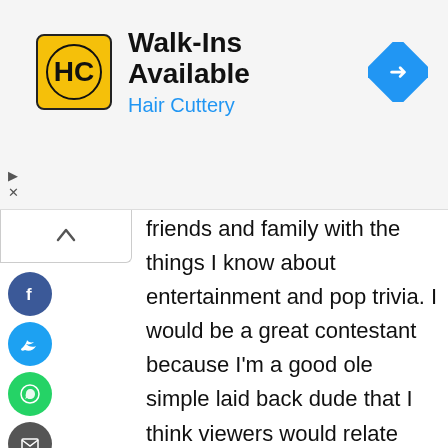[Figure (other): Hair Cuttery advertisement banner with logo, 'Walk-Ins Available' headline, and directional arrow icon]
friends and family with the things I know about entertainment and pop trivia. I would be a great contestant because I'm a good ole simple laid back dude that I think viewers would relate and root for.never tried to get on a show but have always wished to be. Please consider me for an audition so i can show my wicked pop knowledge. I would be a great contestant and would be a dream come true. Thank you so much